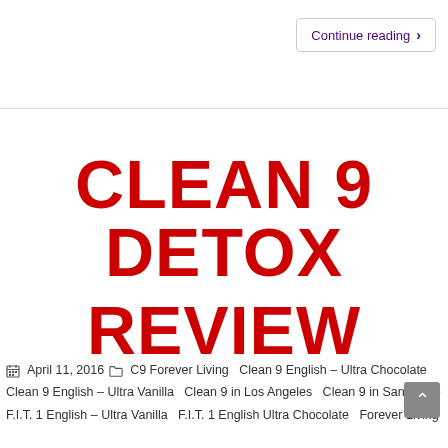Continue reading
CLEAN 9 DETOX REVIEW
April 11, 2016   C9 Forever Living   Clean 9 English – Ultra Chocolate   Clean 9 English – Ultra Vanilla   Clean 9 in Los Angeles   Clean 9 in San Diego   F.I.T. 1 English – Ultra Vanilla   F.I.T. 1 English Ultra Chocolate   Forever Living